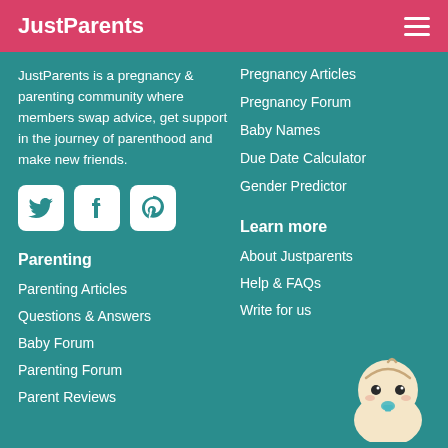JustParents
JustParents is a pregnancy & parenting community where members swap advice, get support in the journey of parenthood and make new friends.
[Figure (other): Social media icons: Twitter, Facebook, Pinterest]
Pregnancy Articles
Pregnancy Forum
Baby Names
Due Date Calculator
Gender Predictor
Parenting
Parenting Articles
Questions & Answers
Baby Forum
Parenting Forum
Parent Reviews
Learn more
About Justparents
Help & FAQs
Write for us
[Figure (illustration): Cartoon baby face illustration with pacifier]